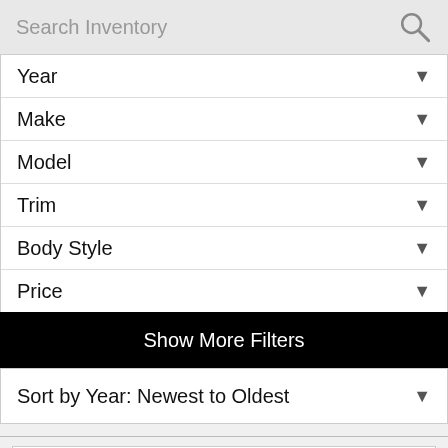Search Inventory
Year
Make
Model
Trim
Body Style
Price
Show More Filters
Sort by Year: Newest to Oldest
[Figure (screenshot): Bottom portion showing car inventory logos/thumbnails including Auto IQ style logos]